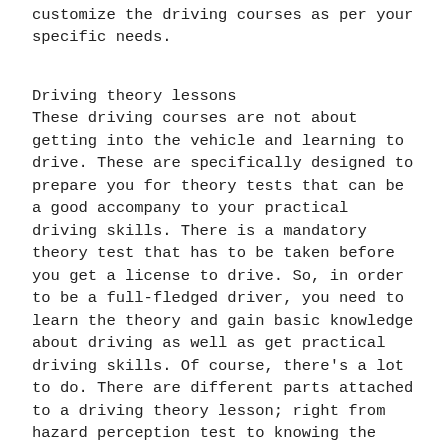customize the driving courses as per your specific needs.
Driving theory lessons
These driving courses are not about getting into the vehicle and learning to drive. These are specifically designed to prepare you for theory tests that can be a good accompany to your practical driving skills. There is a mandatory theory test that has to be taken before you get a license to drive. So, in order to be a full-fledged driver, you need to learn the theory and gain basic knowledge about driving as well as get practical driving skills. Of course, there’s a lot to do. There are different parts attached to a driving theory lesson; right from hazard perception test to knowing the traffic signals and signs, these courses have it all.
Lessons to be a driving instructor
If you already know how to drive, then you can take up a course to teach others to drive. In this case, you can enroll for a driving instructor course. This course is specifically designed to train the students in the most